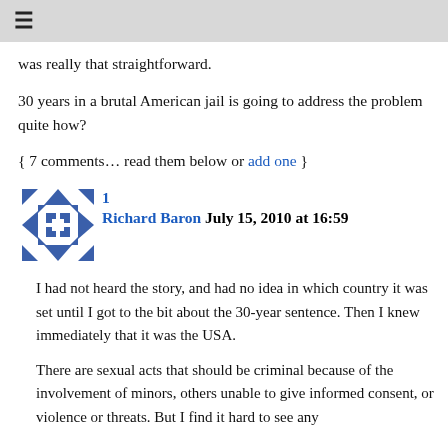≡
was really that straightforward.
30 years in a brutal American jail is going to address the problem quite how?
{ 7 comments… read them below or add one }
[Figure (illustration): Blue geometric avatar icon with snowflake/star pattern]
1
Richard Baron July 15, 2010 at 16:59
I had not heard the story, and had no idea in which country it was set until I got to the bit about the 30-year sentence. Then I knew immediately that it was the USA.
There are sexual acts that should be criminal because of the involvement of minors, others unable to give informed consent, or violence or threats. But I find it hard to see any